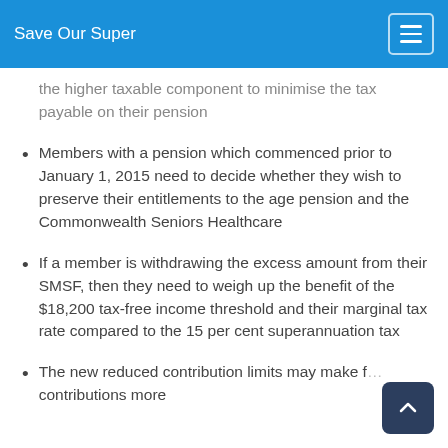Save Our Super
the higher taxable component to minimise the tax payable on their pension
Members with a pension which commenced prior to January 1, 2015 need to decide whether they wish to preserve their entitlements to the age pension and the Commonwealth Seniors Healthcare
If a member is withdrawing the excess amount from their SMSF, then they need to weigh up the benefit of the $18,200 tax-free income threshold and their marginal tax rate compared to the 15 per cent superannuation tax
The new reduced contribution limits may make f… contributions more